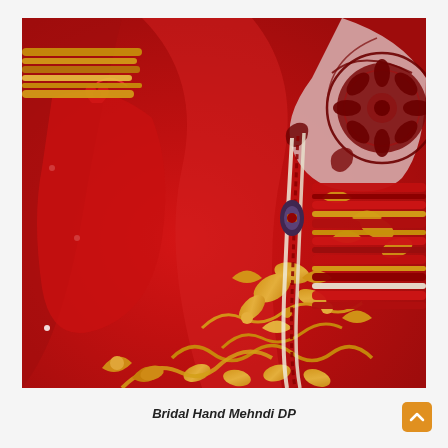[Figure (photo): Close-up photograph of an Indian bride's hands adorned with intricate dark red/maroon mehndi (henna) patterns including a circular mandala design on the back of the hand. The bride wears numerous red and gold bangles stacked on her wrists. She is dressed in a rich red lehenga/bridal outfit with elaborate gold embroidery and floral patterns. Pearl and bead necklaces/jewelry are visible hanging down. The image has warm, vivid colors dominated by crimson red and gold tones.]
Bridal Hand Mehndi DP